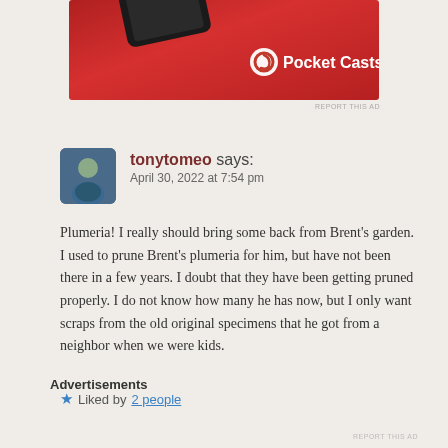[Figure (screenshot): Pocket Casts advertisement banner showing a red device and logo]
REPORT THIS AD
tonytomeo says:
April 30, 2022 at 7:54 pm
Plumeria! I really should bring some back from Brent’s garden. I used to prune Brent’s plumeria for him, but have not been there in a few years. I doubt that they have been getting pruned properly. I do not know how many he has now, but I only want scraps from the old original specimens that he got from a neighbor when we were kids.
★ Liked by 2 people
Advertisements
REPORT THIS AD